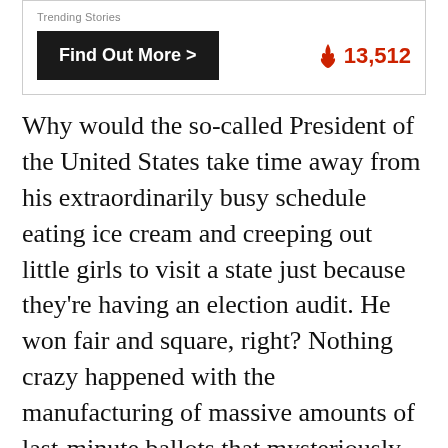Trending Stories
Find Out More >  🔥 13,512
Why would the so-called President of the United States take time away from his extraordinarily busy schedule eating ice cream and creeping out little girls to visit a state just because they're having an election audit. He won fair and square, right? Nothing crazy happened with the manufacturing of massive amounts of last-minute ballots that mysteriously went to him 9-1, right? As I noted on Twitter: